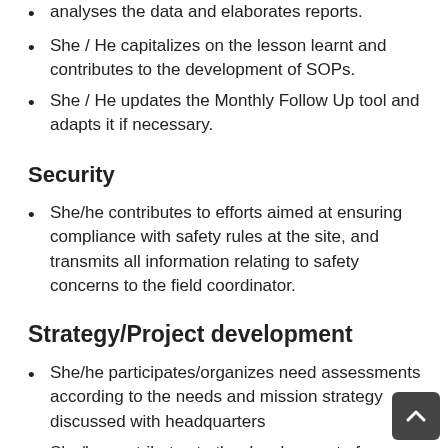analyses the data and elaborates reports.
She / He capitalizes on the lesson learnt and contributes to the development of SOPs.
She / He updates the Monthly Follow Up tool and adapts it if necessary.
Security
She/he contributes to efforts aimed at ensuring compliance with safety rules at the site, and transmits all information relating to safety concerns to the field coordinator.
Strategy/Project development
She/he participates/organizes need assessments according to the needs and mission strategy discussed with headquarters
She/he contributes to the development of new interventions based on identified needs,